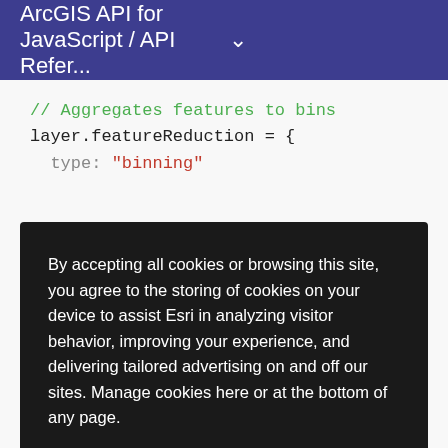ArcGIS API for JavaScript / API Refer...
[Figure (screenshot): Code snippet showing JavaScript: '// Aggregates features to bins' comment in green, 'layer.featureReduction = {' in dark, 'type: "binning"' partially visible]
By accepting all cookies or browsing this site, you agree to the storing of cookies on your device to assist Esri in analyzing visitor behavior, improving your experience, and delivering tailored advertising on and off our sites. Manage cookies here or at the bottom of any page.
Accept All Cookies
Cookies Settings
[Figure (screenshot): Partial code line showing 'stops: [']